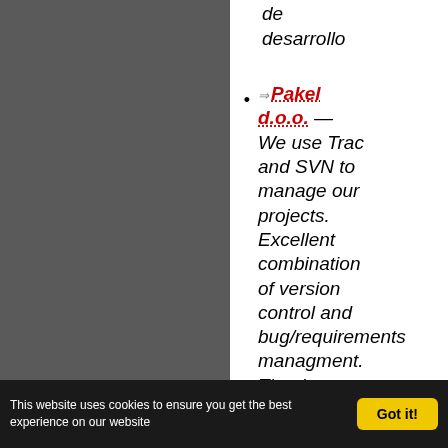de desarrollo
Pakel d.o.o. — We use Trac and SVN to manage our projects. Excellent combination of version control and bug/requirements managment. Thank you Trac team.
Truelite S.r.l. — http://www.truelite.it — All our free-
This website uses cookies to ensure you get the best experience on our website  Got it!